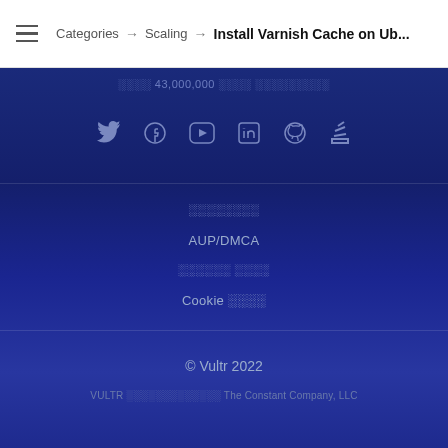Categories → Scaling → Install Varnish Cache on Ub...
░░░░ 43,000,000 ░░░░ ░░░░░░░░░
[Figure (infographic): Social media icons row: Twitter, Facebook, YouTube, LinkedIn, GitHub, Stack Overflow]
░░░░░░░░
AUP/DMCA
░░░░░░ ░░░░
Cookie ░░░░
© Vultr 2022
VULTR ░░░░░░░░░░░░░ The Constant Company, LLC